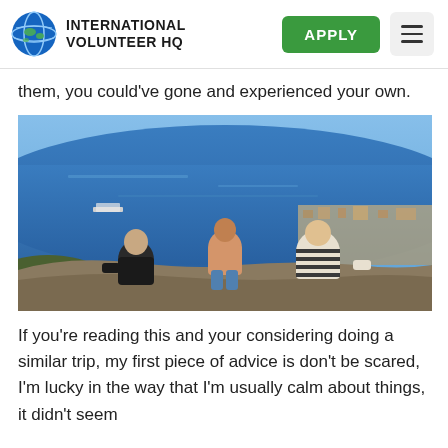INTERNATIONAL VOLUNTEER HQ
them, you could've gone and experienced your own.
[Figure (photo): Three people viewed from behind sitting on a rocky overlook, looking out over a coastal city and blue ocean below on a sunny day.]
If you're reading this and your considering doing a similar trip, my first piece of advice is don't be scared, I'm lucky in the way that I'm usually calm about things, it didn't seem